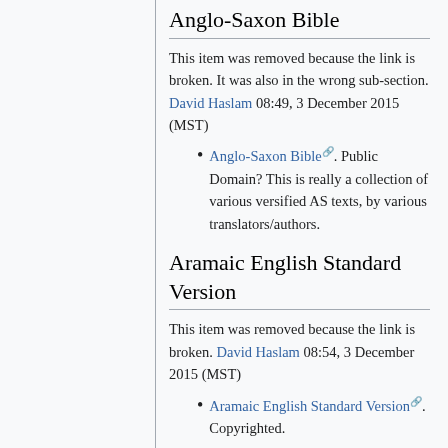Anglo-Saxon Bible
This item was removed because the link is broken. It was also in the wrong sub-section. David Haslam 08:49, 3 December 2015 (MST)
Anglo-Saxon Bible. Public Domain? This is really a collection of various versified AS texts, by various translators/authors.
Aramaic English Standard Version
This item was removed because the link is broken. David Haslam 08:54, 3 December 2015 (MST)
Aramaic English Standard Version. Copyrighted.